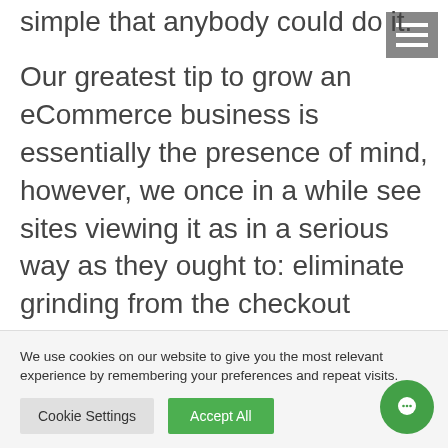simple that anybody could do it.
Our greatest tip to grow an eCommerce business is essentially the presence of mind, however, we once in a while see sites viewing it as in a serious way as they ought to: eliminate grinding from the checkout cycle.
This could be accomplished in multiple ways:
We use cookies on our website to give you the most relevant experience by remembering your preferences and repeat visits.